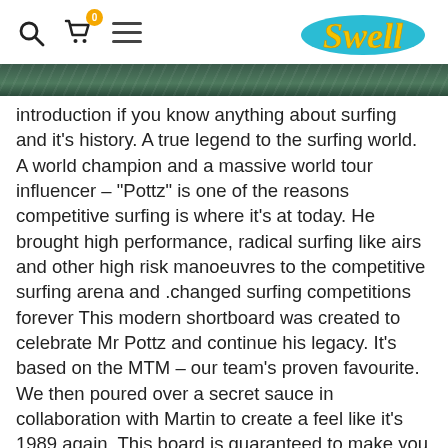Swell — navigation header with search, cart (0), hamburger menu, and Swell logo
[Figure (photo): Partial hero image of a wave/surfing scene, dark green tones, cropped at top]
introduction if you know anything about surfing and it's history. A true legend to the surfing world. A world champion and a massive world tour influencer – "Pottz" is one of the reasons competitive surfing is where it's at today. He brought high performance, radical surfing like airs and other high risk manoeuvres to the competitive surfing arena and .changed surfing competitions forever
This modern shortboard was created to celebrate Mr Pottz and continue his legacy. It's based on the MTM – our team's proven favourite. We then poured over a secret sauce in collaboration with Martin to create a feel like it's 1989 again.  This board is guaranteed to make you feel inspired about your surfing again – but make no mistake – this is a high